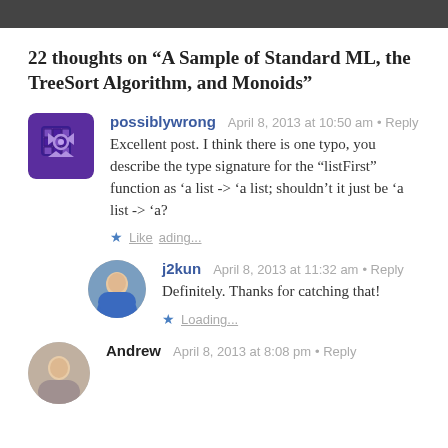22 thoughts on “A Sample of Standard ML, the TreeSort Algorithm, and Monoids”
Excellent post. I think there is one typo, you describe the type signature for the “listFirst” function as ‘a list -> ‘a list; shouldn’t it just be ‘a list -> ‘a?
Definitely. Thanks for catching that!
Andrew